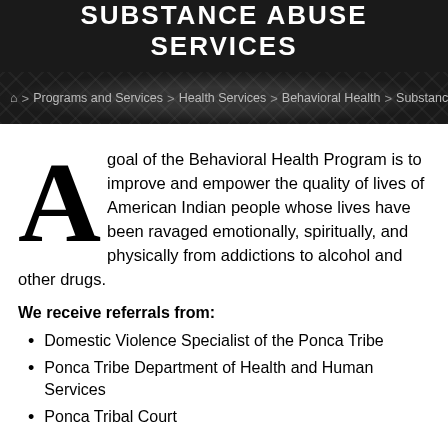SUBSTANCE ABUSE SERVICES
Home > Programs and Services > Health Services > Behavioral Health > Substance A
A goal of the Behavioral Health Program is to improve and empower the quality of lives of American Indian people whose lives have been ravaged emotionally, spiritually, and physically from addictions to alcohol and other drugs.
We receive referrals from:
Domestic Violence Specialist of the Ponca Tribe
Ponca Tribe Department of Health and Human Services
Ponca Tribal Court